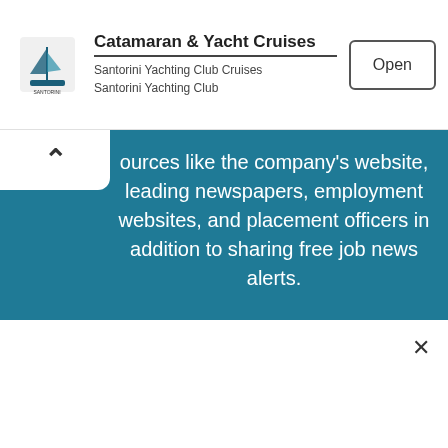[Figure (screenshot): Ad banner for Catamaran & Yacht Cruises by Santorini Yachting Club with an Open button]
ources like the company's website, leading newspapers, employment websites, and placement officers in addition to sharing free job news alerts.
Google Offices in Bangalore
Off Campus Drive For 2022 Batch